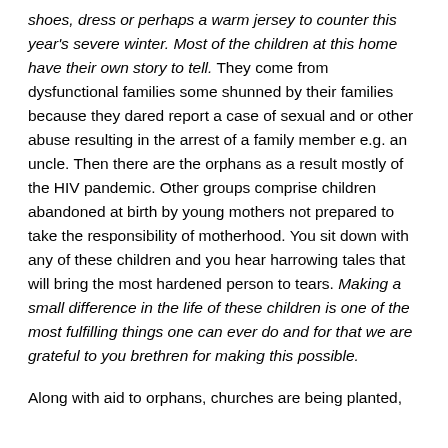shoes, dress or perhaps a warm jersey to counter this year's severe winter. Most of the children at this home have their own story to tell. They come from dysfunctional families some shunned by their families because they dared report a case of sexual and or other abuse resulting in the arrest of a family member e.g. an uncle. Then there are the orphans as a result mostly of the HIV pandemic. Other groups comprise children abandoned at birth by young mothers not prepared to take the responsibility of motherhood. You sit down with any of these children and you hear harrowing tales that will bring the most hardened person to tears. Making a small difference in the life of these children is one of the most fulfilling things one can ever do and for that we are grateful to you brethren for making this possible.
Along with aid to orphans, churches are being planted,